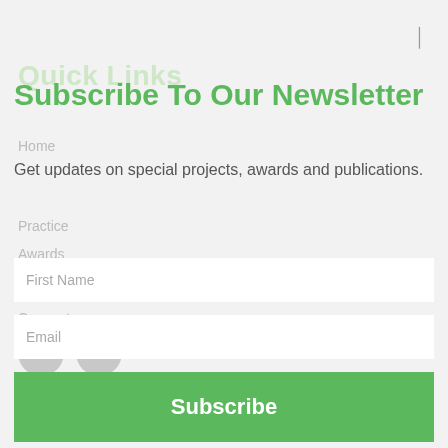Subscribe To Our Newsletter
Get updates on special projects, awards and publications.
First Name
Email
Subscribe